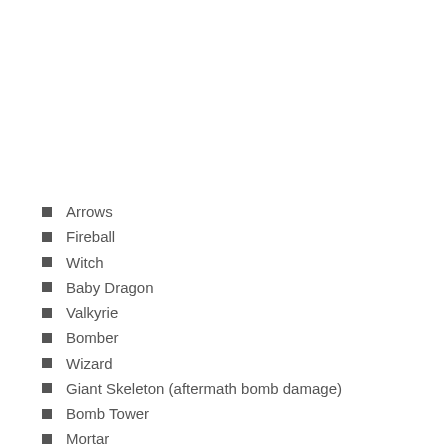Arrows
Fireball
Witch
Baby Dragon
Valkyrie
Bomber
Wizard
Giant Skeleton (aftermath bomb damage)
Bomb Tower
Mortar
Rocket